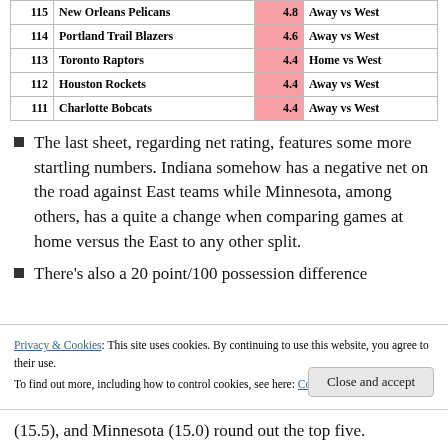|  | Team | Value | Split |
| --- | --- | --- | --- |
| 115 | New Orleans Pelicans | 4.8 | Away vs West |
| 114 | Portland Trail Blazers | 4.6 | Away vs West |
| 113 | Toronto Raptors | 4.4 | Home vs West |
| 112 | Houston Rockets | 4.4 | Away vs West |
| 111 | Charlotte Bobcats | 4.4 | Away vs West |
The last sheet, regarding net rating, features some more startling numbers. Indiana somehow has a negative net on the road against East teams while Minnesota, among others, has a quite a change when comparing games at home versus the East to any other split.
There's also a 20 point/100 possession difference
(15.5), and Minnesota (15.0) round out the top five.